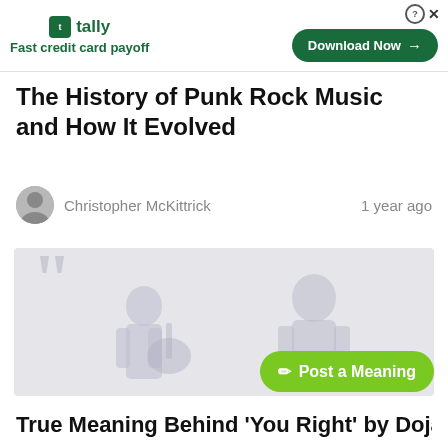[Figure (screenshot): Tally app advertisement banner with logo, 'Fast credit card payoff' tagline, and 'Download Now' button]
The History of Punk Rock Music and How It Evolved
Christopher McKittrick   1 year ago
[Figure (illustration): Light gray illustrated image with large quotation mark and silhouetted figures of musicians performing]
True Meaning Behind 'You Right' by Doja